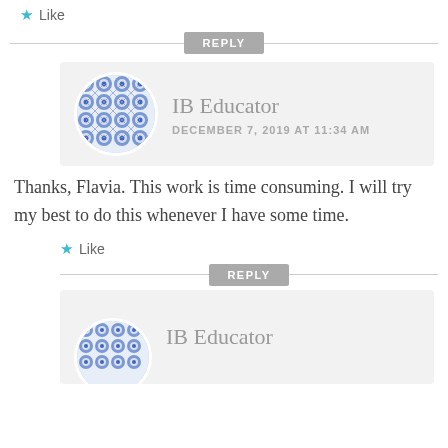★ Like
REPLY
[Figure (illustration): Circular avatar with blue and white decorative tile pattern]
IB Educator
DECEMBER 7, 2019 AT 11:34 AM
Thanks, Flavia. This work is time consuming. I will try my best to do this whenever I have some time.
★ Like
REPLY
[Figure (illustration): Circular avatar with blue and white decorative tile pattern (partially visible)]
IB Educator